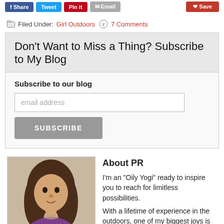Social share buttons: Facebook, Twitter, Pinterest, Email, Save
Filed Under: Girl Outdoors  7 Comments
Don't Want to Miss a Thing? Subscribe to My Blog
Subscribe to our blog
email address
SUBSCRIBE
About PR
I'm an "Oily Yogi" ready to inspire you to reach for limitless possibilities. With a lifetime of experience in the outdoors, one of my biggest joys is to share my passion for adventure with others. After spending decades in suits and buildings, I found a way to combine the office and the outdoors in a way that optimizes positive results. There is a clearly defined correlation between nature, sensory contact, and high impact